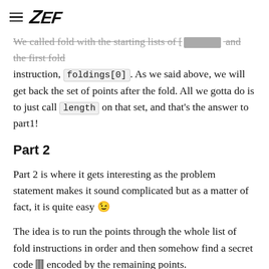ZEF
We called fold with the starting lists of [ ] and the first fold instruction, foldings[0]. As we said above, we will get back the set of points after the fold. All we gotta do is to just call length on that set, and that's the answer to part1!
Part 2
Part 2 is where it gets interesting as the problem statement makes it sound complicated but as a matter of fact, it is quite easy 😉
The idea is to run the points through the whole list of fold instructions in order and then somehow find a secret code 🀫 encoded by the remaining points.
So this first step is to run our points through the whole list of fold instructions. But here is where it might be tricky, we run the